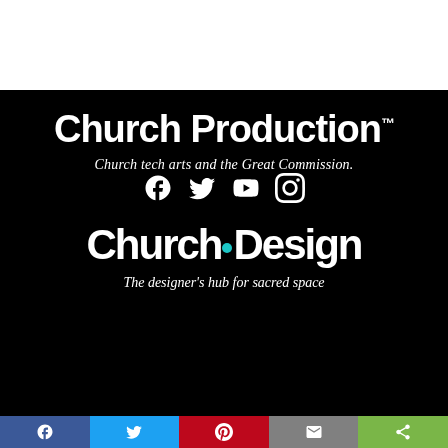[Figure (logo): Church Production logo - bold white text on black background with TM superscript]
Church tech arts and the Great Commission.
[Figure (infographic): Social media icons: Facebook, Twitter, YouTube, Instagram - white on black]
[Figure (logo): Church.Design logo - bold white text on black background with teal dot]
The designer's hub for sacred space
Social share bar with Facebook, Twitter, Pinterest, Email, and Share buttons